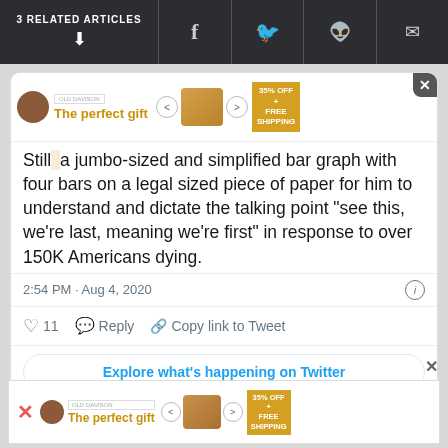3 RELATED ARTICLES
[Figure (screenshot): Advertisement banner: 'The perfect gift' with food image, navigation arrows, and '35% OFF + FREE SHIPPING' promo badge]
Still [truncated] a jumbo-sized and simplified bar graph with four bars on a legal sized piece of paper for him to understand and dictate the talking point "see this, we're last, meaning we're first" in response to over 150K Americans dying.
2:54 PM · Aug 4, 2020
♡ 11  Reply  Copy link to Tweet
Explore what's happening on Twitter
[Figure (screenshot): Bottom advertisement banner: 'The perfect gift' with food image, navigation arrows, and '35% OFF + FREE SHIPPING' promo badge]